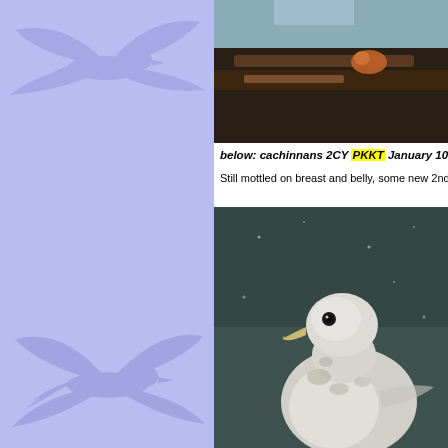[Figure (photo): Left panel with lavender/blue background showing faint bird (gull) silhouettes in flight watermark]
[Figure (photo): Close-up photo of a tree branch with orange-brown bark texture, dark background, top-right portion of page]
below: cachinnans 2CY PKKT January 10 2013
Still mottled on breast and belly, some new 2nd g
[Figure (photo): Photo of a 2nd calendar year Caspian Gull (cachinnans) perched, showing white/pale grey mottled plumage on breast, dark teal/grey background with snow or rain]